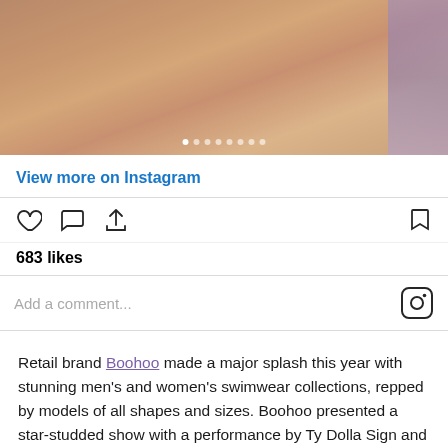[Figure (screenshot): Instagram post top: cropped photo of legs/skin with carousel dots overlay at bottom]
View more on Instagram
[Figure (screenshot): Instagram action bar with heart, comment, share icons on left and bookmark icon on right]
683 likes
Add a comment...
Retail brand Boohoo made a major splash this year with stunning men's and women's swimwear collections, repped by models of all shapes and sizes. Boohoo presented a star-studded show with a performance by Ty Dolla Sign and walks by TikTok influencers/models Olivia Panton, Tessa Brooks, Sam Paige and more.